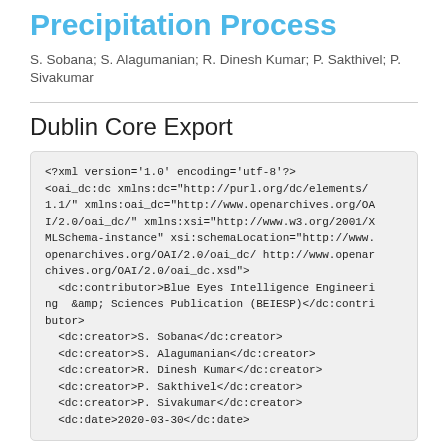Precipitation Process
S. Sobana; S. Alagumanian; R. Dinesh Kumar; P. Sakthivel; P. Sivakumar
Dublin Core Export
<?xml version='1.0' encoding='utf-8'?>
<oai_dc:dc xmlns:dc="http://purl.org/dc/elements/1.1/" xmlns:oai_dc="http://www.openarchives.org/OAI/2.0/oai_dc/" xmlns:xsi="http://www.w3.org/2001/XMLSchema-instance" xsi:schemaLocation="http://www.openarchives.org/OAI/2.0/oai_dc/ http://www.openarchives.org/OAI/2.0/oai_dc.xsd">
  <dc:contributor>Blue Eyes Intelligence Engineering  &amp; Sciences Publication (BEIESP)</dc:contributor>
  <dc:creator>S. Sobana</dc:creator>
  <dc:creator>S. Alagumanian</dc:creator>
  <dc:creator>R. Dinesh Kumar</dc:creator>
  <dc:creator>P. Sakthivel</dc:creator>
  <dc:creator>P. Sivakumar</dc:creator>
  <dc:date>2020-03-30</dc:date>